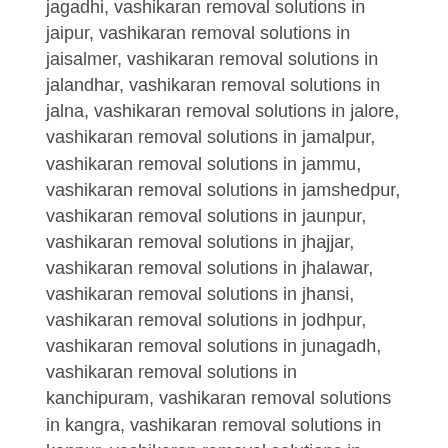jagadhi, vashikaran removal solutions in jaipur, vashikaran removal solutions in jaisalmer, vashikaran removal solutions in jalandhar, vashikaran removal solutions in jalna, vashikaran removal solutions in jalore, vashikaran removal solutions in jamalpur, vashikaran removal solutions in jammu, vashikaran removal solutions in jamshedpur, vashikaran removal solutions in jaunpur, vashikaran removal solutions in jhajjar, vashikaran removal solutions in jhalawar, vashikaran removal solutions in jhansi, vashikaran removal solutions in jodhpur, vashikaran removal solutions in junagadh, vashikaran removal solutions in kanchipuram, vashikaran removal solutions in kangra, vashikaran removal solutions in kanpur, vashikaran removal solutions in kanyakumari, vashikaran removal solutions in kapurthala, vashikaran removal solutions in karaikudi, vashikaran removal solutions in karnal, vashikaran removal solutions in karnataka, vashikaran removal solutions in kasauli, vashikaran removal solutions in katihar, vashikaran removal solutions in katni, vashikaran removal solutions in khajuraho, vashikaran removal solutions in khandala, vashikaran removal solutions in khandwa, vashikaran